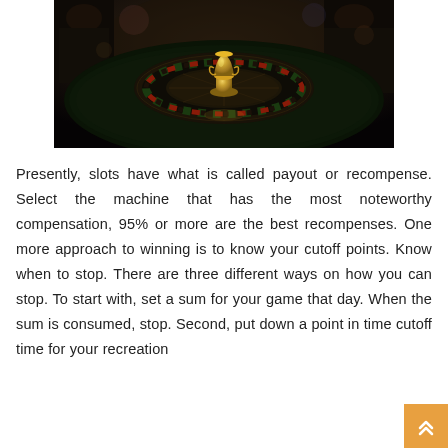[Figure (photo): A close-up photo of a casino roulette wheel with a golden trophy-like center spindle, red and green numbered slots visible, people in formal attire in the blurred background, dark atmospheric lighting.]
Presently, slots have what is called payout or recompense. Select the machine that has the most noteworthy compensation, 95% or more are the best recompenses. One more approach to winning is to know your cutoff points. Know when to stop. There are three different ways on how you can stop. To start with, set a sum for your game that day. When the sum is consumed, stop. Second, put down a point in time cutoff time for your recreation